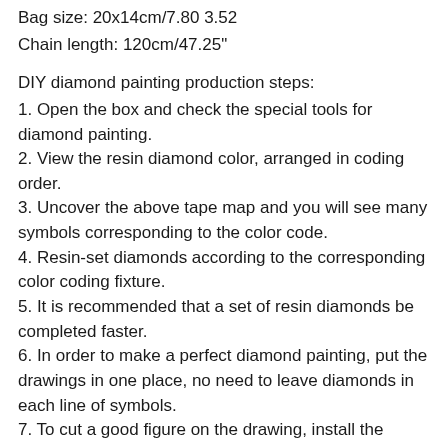Bag size: 20x14cm/7.80 3.52
Chain length: 120cm/47.25"
DIY diamond painting production steps:
1. Open the box and check the special tools for diamond painting.
2. View the resin diamond color, arranged in coding order.
3. Uncover the above tape map and you will see many symbols corresponding to the color code.
4. Resin-set diamonds according to the corresponding color coding fixture.
5. It is recommended that a set of resin diamonds be completed faster.
6. In order to make a perfect diamond painting, put the drawings in one place, no need to leave diamonds in each line of symbols.
7. To cut a good figure on the drawing, install the sorting array on the plane of the material above.